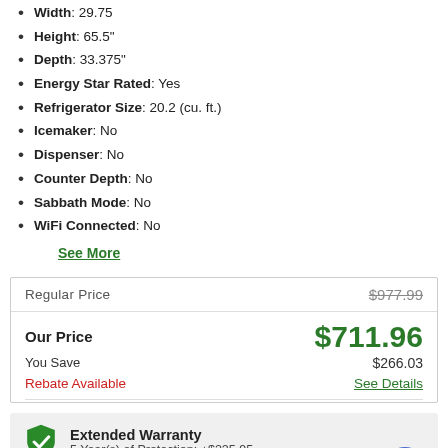Width: 29.75
Height: 65.5"
Depth: 33.375"
Energy Star Rated: Yes
Refrigerator Size: 20.2 (cu. ft.)
Icemaker: No
Dispenser: No
Counter Depth: No
Sabbath Mode: No
WiFi Connected: No
See More
| Label | Value |
| --- | --- |
| Regular Price | $977.99 |
| Our Price | $711.96 |
| You Save | $266.03 |
| Rebate Available | See Details |
Extended Warranty
5 Year(s) of Protection: +$225.95
Enter Zip Code *